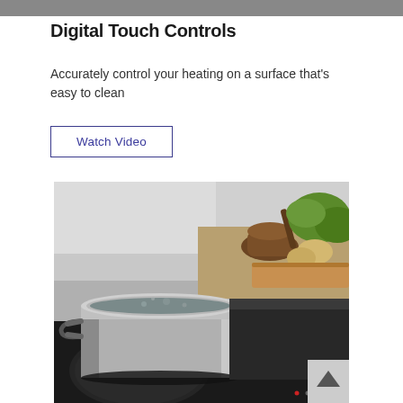[Figure (photo): Top cropped portion of a previous image, dark gradient bar at top of page]
Digital Touch Controls
Accurately control your heating on a surface that's easy to clean
Watch Video
[Figure (photo): A stainless steel pot with boiling water on a black induction cooktop, with a mortar and pestle, vegetables, and cutting board in background]